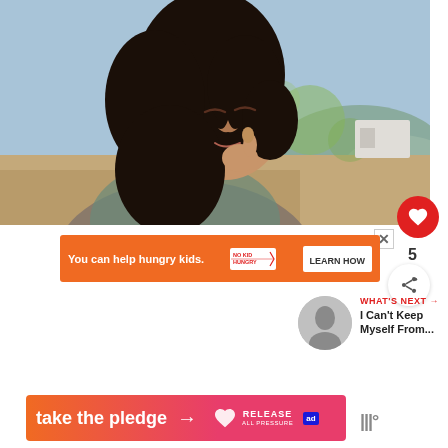[Figure (photo): Woman with curly dark hair, eyes closed, resting hand near chin, outdoor background with soft bokeh of green trees and sky]
[Figure (infographic): Orange ad banner: 'You can help hungry kids.' with No Kid Hungry logo and LEARN HOW button]
WHAT'S NEXT → I Can't Keep Myself From...
[Figure (infographic): Gradient ad banner 'take the pledge →' with Release logo and ad badge]